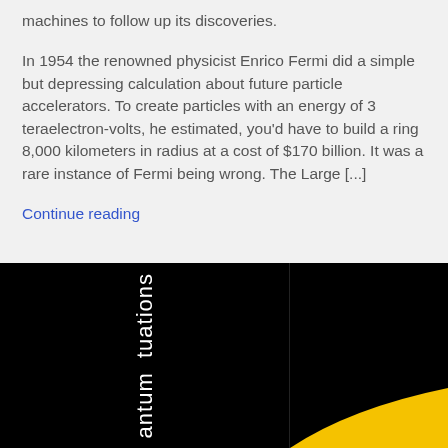machines to follow up its discoveries.
In 1954 the renowned physicist Enrico Fermi did a simple but depressing calculation about future particle accelerators. To create particles with an energy of 3 teraelectron-volts, he estimated, you'd have to build a ring 8,000 kilometers in radius at a cost of $170 billion. It was a rare instance of Fermi being wrong. The Large [...]
Continue reading
[Figure (photo): Dark/black image showing vertical white text reading 'antum tuations' (partial text visible, likely 'Quantum Fluctuations'), with a yellow curved shape visible in the bottom-right portion of the image. Image appears to be a book or video cover split into two panels.]